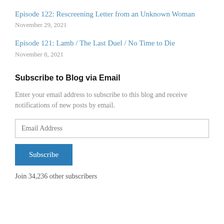Episode 122: Rescreening Letter from an Unknown Woman
November 29, 2021
Episode 121: Lamb / The Last Duel / No Time to Die
November 8, 2021
Subscribe to Blog via Email
Enter your email address to subscribe to this blog and receive notifications of new posts by email.
Join 34,236 other subscribers